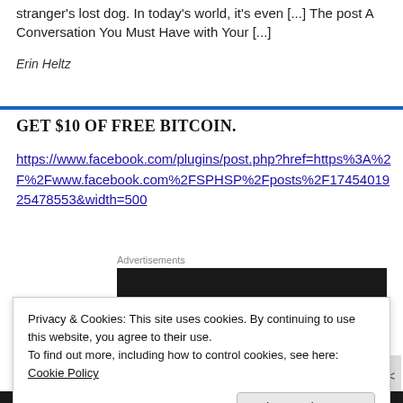stranger's lost dog. In today's world, it's even [...] The post A Conversation You Must Have with Your [...]
Erin Heltz
GET $10 OF FREE BITCOIN.
https://www.facebook.com/plugins/post.php?href=https%3A%2F%2Fwww.facebook.com%2FSPHSP%2Fposts%2F1745401925478553&width=500
[Figure (other): Advertisements banner - dark black rectangular ad block]
Privacy & Cookies: This site uses cookies. By continuing to use this website, you agree to their use.
To find out more, including how to control cookies, see here: Cookie Policy
Close and accept